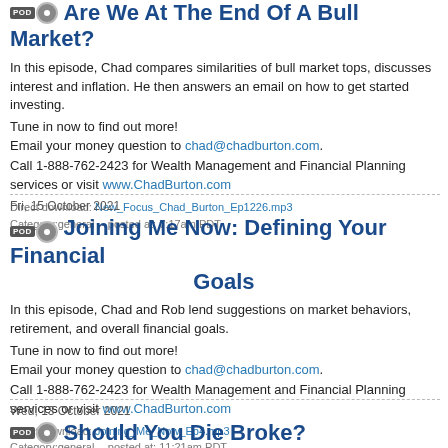Are We At The End Of A Bull Market?
In this episode, Chad compares similarities of bull market tops, discusses interest and inflation. He then answers an email on how to get started investing.
Tune in now to find out more!
Email your money question to chad@chadburton.com.
Call 1-888-762-2423 for Wealth Management and Financial Planning services or visit www.ChadBurton.com
Direct download: New_Focus_Chad_Burton_Ep1226.mp3 Category:general -- posted at: 7:17am PDT
Fri, 15 October 2021
Joining Me Now: Defining Your Financial Goals
In this episode, Chad and Rob lend suggestions on market behaviors, retirement, and overall financial goals.
Tune in now to find out more!
Email your money question to chad@chadburton.com.
Call 1-888-762-2423 for Wealth Management and Financial Planning services or visit www.ChadBurton.com
Direct download: Joining_Me_Now_Ep4.mp3 Category:general -- posted at: 11:21am PDT
Wed, 13 October 2021
Should You Die Broke?